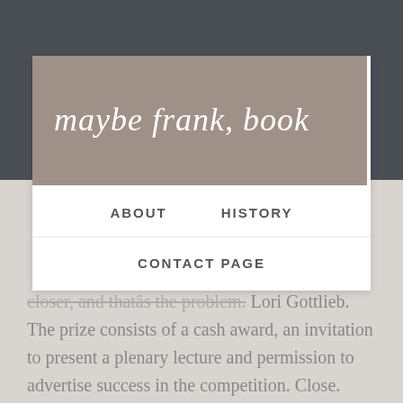maybe frank, book
ABOUT    HISTORY
CONTACT PAGE
closer, and thatâs the problem. Lori Gottlieb. The prize consists of a cash award, an invitation to present a plenary lecture and permission to advertise success in the competition. Close. Maybe Frank should take a page out of this kids book. Two years later,